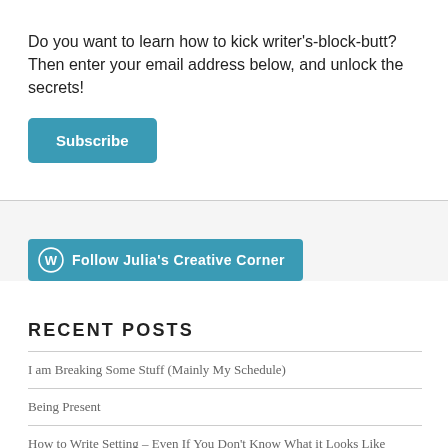Do you want to learn how to kick writer's-block-butt? Then enter your email address below, and unlock the secrets!
Subscribe
[Figure (other): Follow Julia's Creative Corner button with WordPress icon]
RECENT POSTS
I am Breaking Some Stuff (Mainly My Schedule)
Being Present
How to Write Setting – Even If You Don't Know What it Looks Like